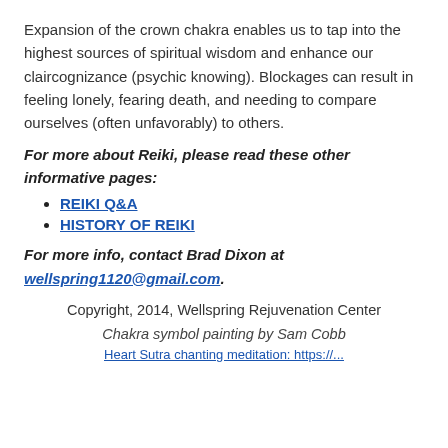Expansion of the crown chakra enables us to tap into the highest sources of spiritual wisdom and enhance our claircognizance (psychic knowing). Blockages can result in feeling lonely, fearing death, and needing to compare ourselves (often unfavorably) to others.
For more about Reiki, please read these other informative pages:
REIKI Q&A
HISTORY OF REIKI
For more info, contact Brad Dixon at wellspring1120@gmail.com.
Copyright, 2014, Wellspring Rejuvenation Center
Chakra symbol painting by Sam Cobb